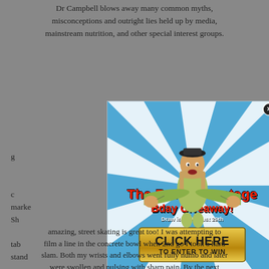Dr Campbell blows away many common myths, misconceptions and outright lies held up by media, mainstream nutrition, and other special interest groups.
[Figure (infographic): Popup advertisement for 'The Raw Advantage Bday Giveaway!' with a blue sunburst background, a person with arms spread wide, red promotional text, draw date August 29th, a gold 'CLICK HERE TO ENTER TO WIN' button, and a close (X) button in the top right corner.]
amazing, street skating is great too! I was attempting to film a line in the concrete bowl when 2nd go I took a hard slam. Both my wrists and elbows went fully numb and later were swollen and pulsing with sharp pain. By the next